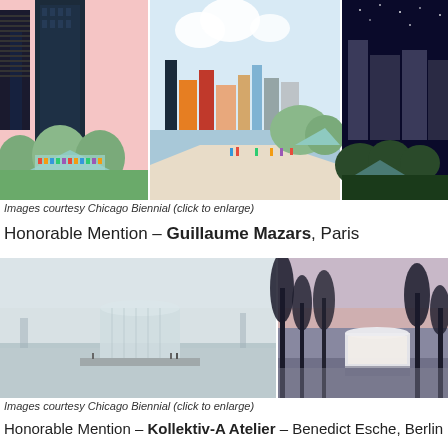[Figure (illustration): Three architectural illustration panels showing Chicago skyline scenes with stylized buildings and greenery. Left panel: pink sky with dark skyscrapers and a green pavilion. Center panel: colorful skyline viewed from lakefront path with pedestrians. Right panel: dark night sky with grey city buildings.]
Images courtesy Chicago Biennial (click to enlarge)
Honorable Mention – Guillaume Mazars, Paris
[Figure (photo): Two architectural renderings of a circular/cylindrical pavilion building. Left photo: misty daytime view with a large glass cylinder structure on a waterfront. Right photo: dusk/sunset view with a white cylindrical pavilion among trees.]
Images courtesy Chicago Biennial (click to enlarge)
Honorable Mention – Kollektiv-A Atelier – Benedict Esche, Berlin